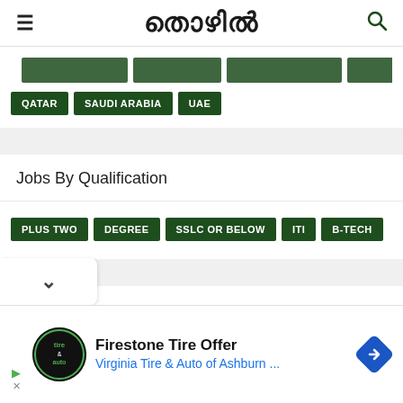തൊഴിൽ
QATAR
SAUDI ARABIA
UAE
Jobs By Qualification
PLUS TWO
DEGREE
SSLC OR BELOW
ITI
B-TECH
Firestone Tire Offer
Virginia Tire & Auto of Ashburn ...